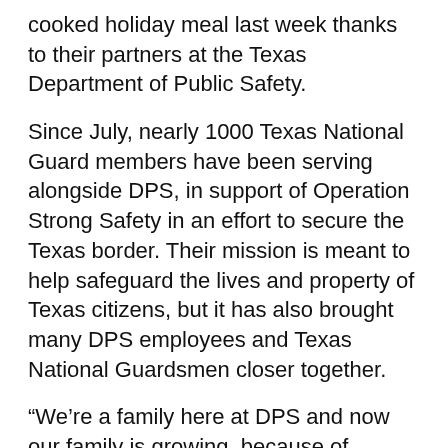cooked holiday meal last week thanks to their partners at the Texas Department of Public Safety.
Since July, nearly 1000 Texas National Guard members have been serving alongside DPS, in support of Operation Strong Safety in an effort to secure the Texas border. Their mission is meant to help safeguard the lives and property of Texas citizens, but it has also brought many DPS employees and Texas National Guardsmen closer together.
“We’re a family here at DPS and now our family is growing, because of Operation Strong Safety,” said Jose Rodriguez, DPS Regional Commander. “This operation has allowed me to work side-by-side with Texas National Guard members. We are glad to see the Guardsmen here with smiling faces and full bellies!”
Through the unique military capabilities of the Texas